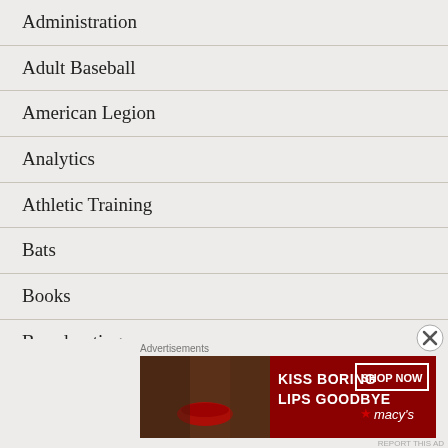Administration
Adult Baseball
American Legion
Analytics
Athletic Training
Bats
Books
Broadcasting
Collecting
College
Advertisements
[Figure (photo): Macy's advertisement banner: KISS BORING LIPS GOODBYE with SHOP NOW button and Macy's logo]